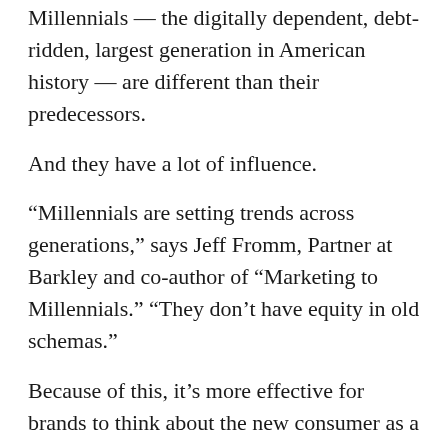Millennials — the digitally dependent, debt-ridden, largest generation in American history — are different than their predecessors.
And they have a lot of influence.
“Millennials are setting trends across generations,” says Jeff Fromm, Partner at Barkley and co-author of “Marketing to Millennials.” “They don’t have equity in old schemas.”
Because of this, it’s more effective for brands to think about the new consumer as a group with a shared mindset, as opposed to a demographic of a certain age or background.
A few things we know for sure: This new consumer is mobile-first — they expect to be able to, at the